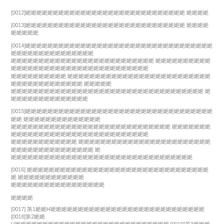[0012] 㛂㛂㛂㛂㛂㛂㛂㛂㛂㛂㛂㛂㛂㛂㛂㛂㛂㛂㛂㛂㛂㛂㛂㛂㛂㛂㛂㛂㛂 㛂㛂㛂㛂
[0013] 㛂㛂㛂㛂㛂㛂㛂㛂㛂㛂㛂㛂㛂㛂㛂㛂㛂㛂㛂㛂㛂㛂㛂㛂㛂㛂㛂㛂㛂 㛂㛂㛂㛂㛂㛂㛂㛂㛂
[0014] 㛂㛂㛂㛂㛂㛂㛂㛂㛂㛂㛂㛂㛂㛂㛂㛂㛂㛂㛂㛂㛂㛂㛂㛂㛂㛂㛂㛂㛂㛂㛂㛂㛂㛂 㛂㛂㛂㛂㛂㛂㛂㛂㛂㛂㛂㛂㛂㛂 㛂㛂㛂㛂㛂㛂㛂㛂㛂㛂㛂㛂㛂㛂㛂㛂㛂㛂㛂㛂㛂㛂㛂㛂㛂㛂㛂㛂㛂㛂㛂㛂㛂㛂㛂㛂㛂㛂㛂 㛂㛂㛂㛂㛂㛂㛂㛂㛂㛂 㛂㛂㛂㛂㛂㛂㛂㛂㛂㛂㛂㛂㛂㛂㛂㛂㛂㛂㛂㛂㛂㛂㛂㛂㛂㛂㛂㛂㛂㛂㛂㛂㛂㛂㛂㛂㛂㛂㛂㛂㛂㛂㛂㛂㛂㛂㛂 㛂㛂㛂㛂㛂 㛂㛂㛂㛂㛂㛂㛂㛂㛂㛂㛂㛂㛂㛂㛂㛂㛂㛂㛂㛂㛂㛂㛂㛂㛂㛂㛂㛂㛂㛂㛂㛂㛂㛂㛂 㛂㛂㛂㛂㛂㛂㛂㛂㛂㛂㛂㛂㛂㛂㛂
[0015] 㛂㛂㛂㛂㛂㛂㛂㛂㛂㛂㛂㛂㛂㛂㛂㛂㛂㛂㛂㛂㛂㛂㛂㛂㛂㛂㛂㛂㛂㛂㛂㛂㛂㛂㛂㛂 㛂㛂㛂㛂㛂㛂㛂㛂㛂㛂㛂㛂㛂㛂 㛂㛂㛂㛂㛂㛂㛂㛂㛂㛂㛂㛂㛂㛂㛂㛂㛂㛂㛂㛂㛂㛂㛂㛂㛂㛂㛂㛂㛂 㛂㛂㛂㛂㛂㛂㛂㛂㛂㛂㛂㛂㛂㛂㛂㛂㛂㛂㛂㛂㛂㛂㛂㛂㛂㛂㛂㛂㛂㛂㛂㛂 㛂㛂㛂㛂㛂㛂㛂㛂㛂㛂㛂㛂 㛂㛂㛂㛂㛂㛂㛂㛂㛂㛂㛂㛂㛂㛂㛂㛂㛂㛂㛂㛂㛂㛂㛂㛂㛂㛂㛂㛂㛂㛂㛂㛂㛂㛂㛂㛂㛂㛂㛂㛂㛂㛂㛂㛂㛂㛂㛂 㛂 㛂㛂㛂㛂㛂㛂㛂㛂㛂㛂㛂㛂㛂㛂㛂㛂㛂㛂㛂㛂㛂㛂㛂㛂㛂㛂㛂㛂㛂㛂㛂㛂㛂
[0016] 㛂㛂㛂㛂㛂㛂㛂㛂㛂㛂㛂㛂㛂㛂㛂㛂㛂㛂㛂㛂㛂㛂㛂㛂㛂㛂㛂㛂㛂㛂㛂㛂㛂㛂 㛂㛂㛂㛂㛂㛂㛂㛂㛂㛂㛂㛂 㛂㛂㛂㛂㛂㛂㛂㛂㛂㛂㛂㛂㛂㛂㛂㛂㛂
㛂㛂㛂㛂
[0017] 第1㛂㛂H㛂㛂㛂㛂㛂㛂㛂㛂㛂㛂㛂㛂㛂㛂㛂㛂㛂㛂㛂㛂㛂㛂㛂㛂㛂㛂㛂㛂 [0018] 第2㛂㛂H㛂㛂㛂㛂㛂㛂㛂㛂㛂㛂㛂㛂㛂㛂㛂㛂㛂㛂㛂㛂㛂㛂㛂㛂㛂㛂 [0019] 第3㛂㛂㛂㛂㛂㛂㛂㛂㛂㛂㛂㛂㛂㛂㛂 㛂㛂㛂㛂
[G020] 第4㛂㛂㛂㛂㛂㛂㛂㛂㛂㛂㛂㛂㛂㛂㛂㛂㛂㛂㛂㛂㛂